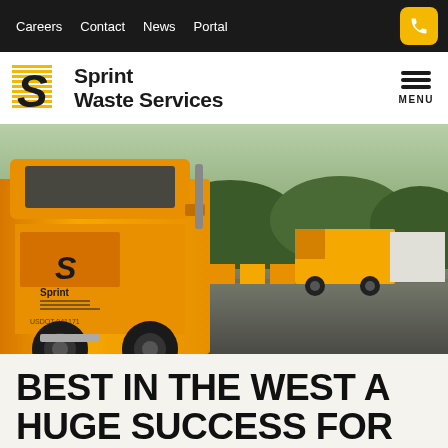Careers  Contact  News  Portal
[Figure (logo): Sprint Waste Services logo with yellow S icon and bold black brand text]
[Figure (photo): Yellow Sprint Waste Services semi-trucks parked in a large gravel lot with trees in background, taken at dusk]
BEST IN THE WEST A HUGE SUCCESS FOR THE ARC